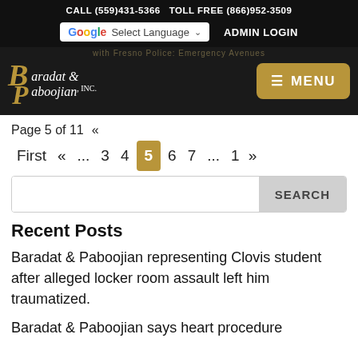CALL (559)431-5366   TOLL FREE (866)952-3509
Select Language   ADMIN LOGIN
Baradat & Paboojian, INC.  MENU
Page 5 of 11  «
First  «  ...  3  4  5  6  7  ...  1  »
SEARCH
Recent Posts
Baradat & Paboojian representing Clovis student after alleged locker room assault left him traumatized.
Baradat & Paboojian says heart procedure